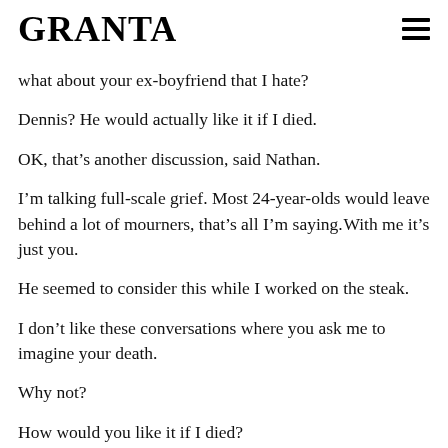GRANTA
what about your ex-boyfriend that I hate?
Dennis? He would actually like it if I died.
OK, that’s another discussion, said Nathan.
I’m talking full-scale grief. Most 24-year-olds would leave behind a lot of mourners, that’s all I’m saying. With me it’s just you.
He seemed to consider this while I worked on the steak.
I don’t like these conversations where you ask me to imagine your death.
Why not?
How would you like it if I died?